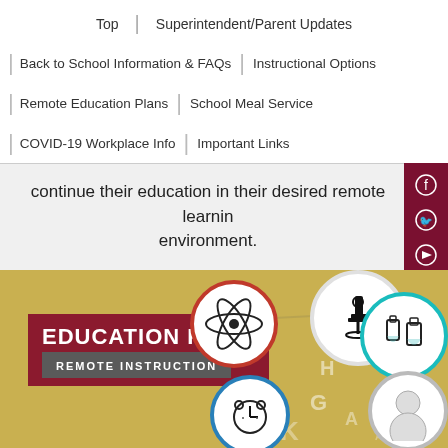Top | Superintendent/Parent Updates
Back to School Information & FAQs | Instructional Options
Remote Education Plans | School Meal Service
COVID-19 Workplace Info | Important Links
continue their education in their desired remote learning environment.
[Figure (infographic): Education Plan Remote Instruction infographic on gold/yellow background with icons in circles (atom, microscope, beaker, clock, face) connected by lines, and scattered letters A, G, H, K, W, O on the background.]